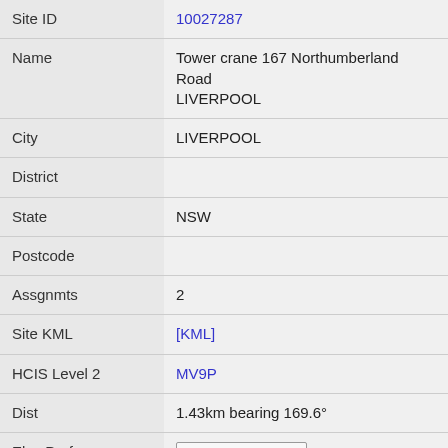| Field | Value |
| --- | --- |
| Site ID | 10027287 |
| Name | Tower crane 167 Northumberland Road LIVERPOOL |
| City | LIVERPOOL |
| District |  |
| State | NSW |
| Postcode |  |
| Assgnmts | 2 |
| Site KML | [KML] |
| HCIS Level 2 | MV9P |
| Dist | 1.43km bearing 169.6° |
| Elev Prof | Elevation Profile |
| Site ID | 10001367 |
| Name | Aldi Liverpool Plaza 165 - 191 Macquarie st LIVERPOOL |
| City | LIVERPOOL |
| District |  |
| State | NSW |